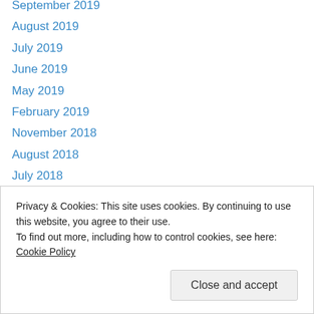September 2019
August 2019
July 2019
June 2019
May 2019
February 2019
November 2018
August 2018
July 2018
November 2017
October 2017
April 2017
March 2017
November 2016
March 2016
Privacy & Cookies: This site uses cookies. By continuing to use this website, you agree to their use.
To find out more, including how to control cookies, see here: Cookie Policy
Close and accept